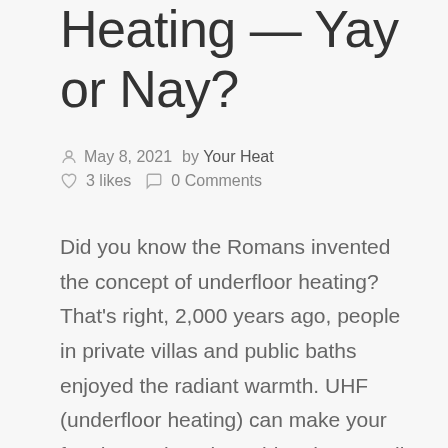Heating — Yay or Nay?
May 8, 2021  by Your Heat  3 likes  0 Comments
Did you know the Romans invented the concept of underfloor heating? That's right, 2,000 years ago, people in private villas and public baths enjoyed the radiant warmth. UHF (underfloor heating) can make your feet happy but also add to the overall comfort of your home. Compared to traditional radiator systems, underfloor heating won't leave a single cold